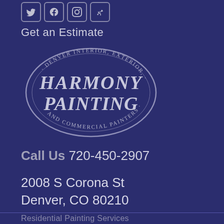[Figure (other): Social media icon buttons: Twitter, Facebook, Instagram, Yelp]
Get an Estimate
[Figure (logo): Harmony Painting logo - oval badge with text 'Denver Interior, Exterior, Harmony Painting and Commercial Painters']
Call Us 720-450-2907
2008 S Corona St
Denver, CO 80210
Residential Painting Services
Interior Residential
Exterior Residential